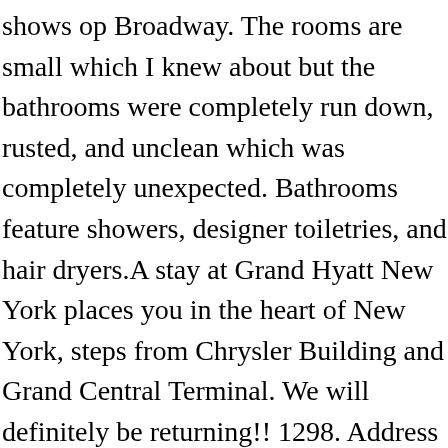shows op Broadway. The rooms are small which I knew about but the bathrooms were completely run down, rusted, and unclean which was completely unexpected. Bathrooms feature showers, designer toiletries, and hair dryers.A stay at Grand Hyatt New York places you in the heart of New York, steps from Chrysler Building and Grand Central Terminal. We will definitely be returning!! 1298. Address 109 East 42nd St New York, NY 10017 Phone 1 212-883-1234 Fax 1 646-213-6659 Toll-Free 800-233-1234 Web